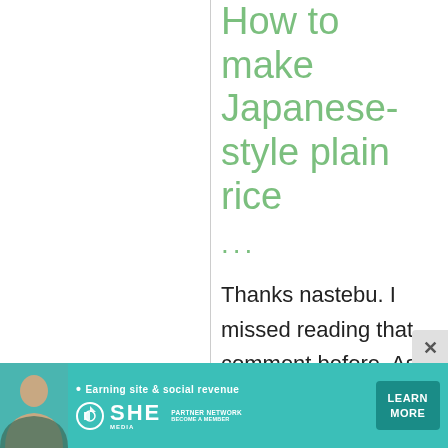How to make Japanese-style plain rice
...
Thanks nastebu. I missed reading that comment before. As you say, he's totally
[Figure (infographic): Advertisement banner for SHE Media Partner Network with tagline 'Earning site & social revenue' and a Learn More button]